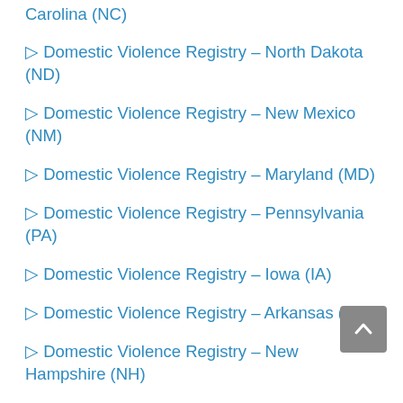▷ Domestic Violence Registry – North Carolina (NC)
▷ Domestic Violence Registry – North Dakota (ND)
▷ Domestic Violence Registry – New Mexico (NM)
▷ Domestic Violence Registry – Maryland (MD)
▷ Domestic Violence Registry – Pennsylvania (PA)
▷ Domestic Violence Registry – Iowa (IA)
▷ Domestic Violence Registry – Arkansas (AR)
▷ Domestic Violence Registry – New Hampshire (NH)
▷ Domestic Violence Registry – Ohio (OH)